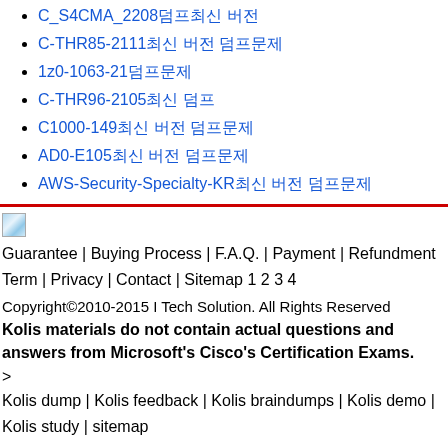C_S4CMA_2208덤프최신 버전
C-THR85-2111최신 버전 덤프문제
1z0-1063-21덤프문제
C-THR96-2105최신 덤프
C1000-149최신 버전 덤프문제
AD0-E105최신 버전 덤프문제
AWS-Security-Specialty-KR최신 버전 덤프문제
[Figure (illustration): Small cloud/image icon]
Guarantee | Buying Process | F.A.Q. | Payment | Refundment Term | Privacy | Contact | Sitemap 1 2 3 4
Copyright©2010-2015 I Tech Solution. All Rights Reserved
Kolis materials do not contain actual questions and answers from Microsoft's Cisco's Certification Exams.
>
Kolis dump | Kolis feedback | Kolis braindumps | Kolis demo | Kolis study | sitemap